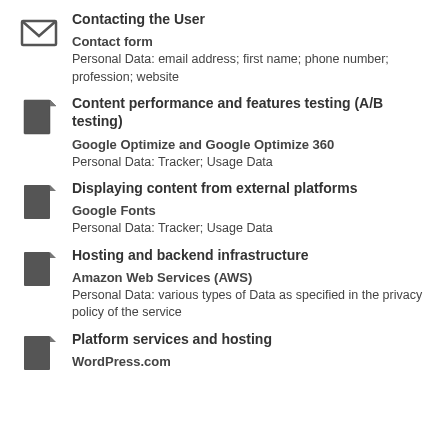Contacting the User
Contact form
Personal Data: email address; first name; phone number; profession; website
Content performance and features testing (A/B testing)
Google Optimize and Google Optimize 360
Personal Data: Tracker; Usage Data
Displaying content from external platforms
Google Fonts
Personal Data: Tracker; Usage Data
Hosting and backend infrastructure
Amazon Web Services (AWS)
Personal Data: various types of Data as specified in the privacy policy of the service
Platform services and hosting
WordPress.com